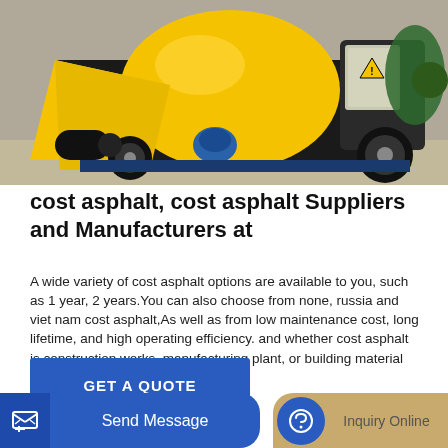[Figure (photo): Yellow asphalt mixer/concrete pump machine on a wheeled platform, with blue hydraulic components and electrical control box, photographed outdoors.]
cost asphalt, cost asphalt Suppliers and Manufacturers at
A wide variety of cost asphalt options are available to you, such as 1 year, 2 years.You can also choose from none, russia and viet nam cost asphalt,As well as from low maintenance cost, long lifetime, and high operating efficiency. and whether cost asphalt is construction works, manufacturing plant, or building material shops.
GET A QUOTE
Send Message
Inquiry Online